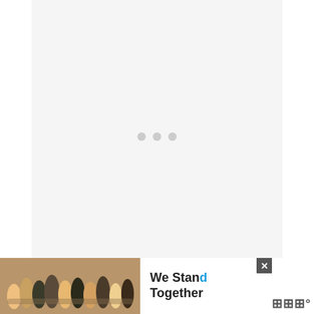[Figure (other): Image loading placeholder with three gray dots on a light gray background]
The amazing construction catches the eyes of m... riders. And the frame of this board is strong en... ... the
[Figure (other): Advertisement banner: group of people hugging with text 'We Stand Together' and a close button]